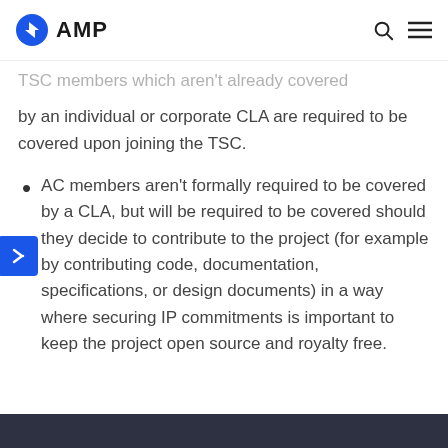AMP
TSC members which aren't already covered by an individual or corporate CLA are required to be covered upon joining the TSC.
AC members aren't formally required to be covered by a CLA, but will be required to be covered should they decide to contribute to the project (for example by contributing code, documentation, specifications, or design documents) in a way where securing IP commitments is important to keep the project open source and royalty free.